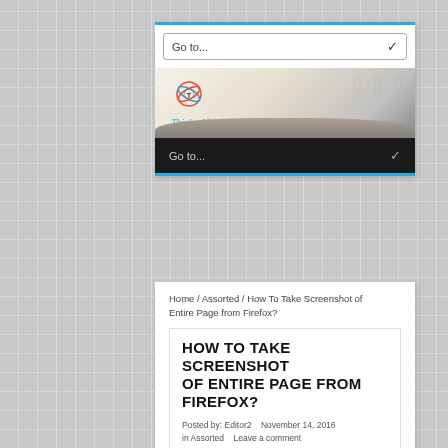[Figure (screenshot): ThinkerViews website screenshot showing navigation dropdown 'Go to...' bar, header banner with ThinkerViews logo and 'Views And Reviews' tagline over a book background image, and a dark navigation bar below with another 'Go to...' dropdown]
Home / Assorted / How To Take Screenshot of Entire Page from Firefox?
HOW TO TAKE SCREENSHOT OF ENTIRE PAGE FROM FIREFOX?
Posted by: Editor2   November 14, 2016
in Assorted   Leave a comment